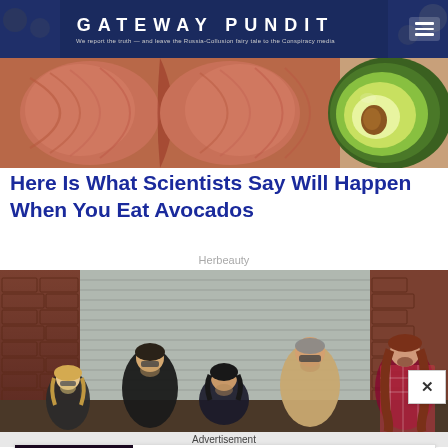GATEWAY PUNDIT — We report the truth — and leave the Russia-Collusion fairy tale to the Conspiracy media
[Figure (photo): Close-up photo of human muscle anatomy and avocado halves showing green flesh]
Here Is What Scientists Say Will Happen When You Eat Avocados
Herbeauty
[Figure (photo): Band photo: five musicians posing against a brick wall and corrugated metal shutter backdrop]
Advertisement
[Figure (photo): Advertisement showing AI robot face on left and text: Most Amazing Advanced Robots That Will Change Our World — Brainberries]